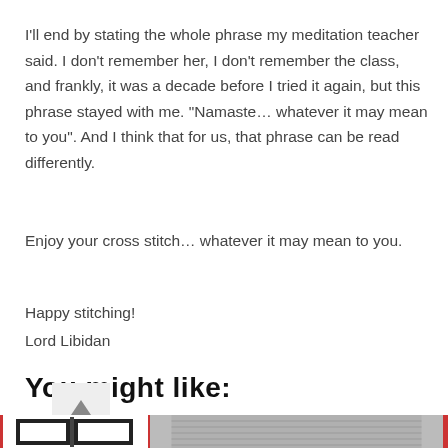I'll end by stating the whole phrase my meditation teacher said. I don't remember her, I don't remember the class, and frankly, it was a decade before I tried it again, but this phrase stayed with me. “Namaste… whatever it may mean to you”. And I think that for us, that phrase can be read differently.
Enjoy your cross stitch… whatever it may mean to you.
Happy stitching!
Lord Libidan
You might like:
[Figure (photo): Bottom strip showing partial thumbnail images of cross stitch related content with red divider lines]